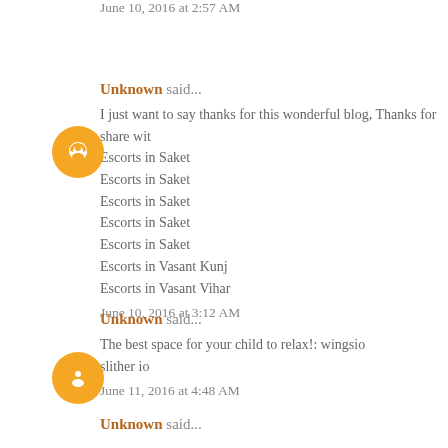June 10, 2016 at 2:57 AM
Unknown said...
I just want to say thanks for this wonderful blog, Thanks for share wit Escorts in Saket
Escorts in Saket
Escorts in Saket
Escorts in Saket
Escorts in Saket
Escorts in Vasant Kunj
Escorts in Vasant Vihar
June 10, 2016 at 3:12 AM
Unknown said...
The best space for your child to relax!: wingsio
slither io
June 11, 2016 at 4:48 AM
Unknown said...